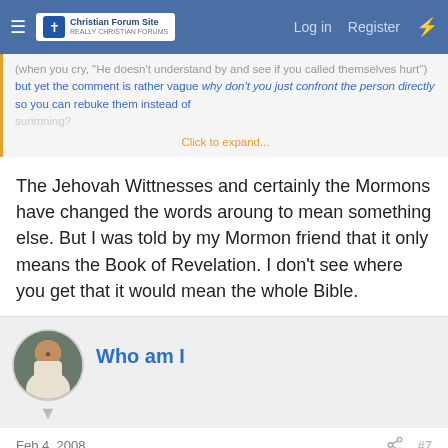Christian Forum Site — Log in | Register
(when you cry, "He doesn't understand by and see if you called themselves hurt") but yet the comment is rather vague why don't you just confront the person directly so you can rebuke them instead of surimning?
Click to expand...
The Jehovah Wittnesses and certainly the Mormons have changed the words aroung to mean something else. But I was told by my Mormon friend that it only means the Book of Revelation. I don't see where you get that it would mean the whole Bible.
Who am I
Feb 4, 2008
#7
SweetSurrender said:
The Jehovah Wittnesses and certainly the Mormons have changed